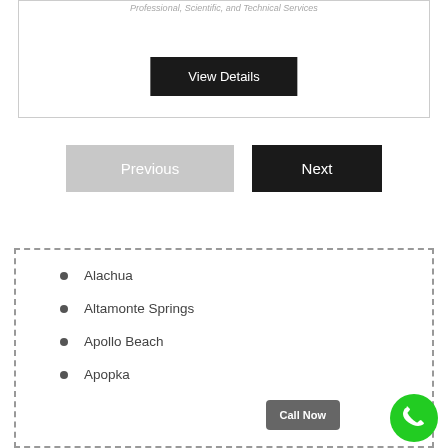Professional, Scientific, and Technical Services
View Details
Previous
Next
Alachua
Altamonte Springs
Apollo Beach
Apopka